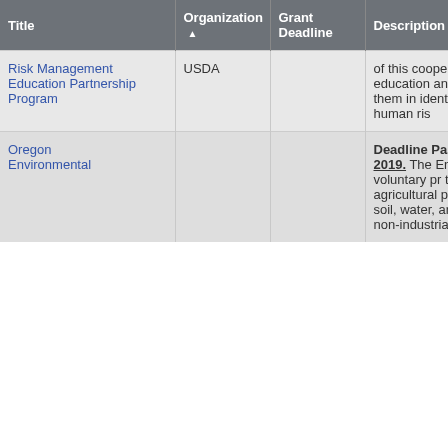| Title | Organization ▲ | Grant Deadline | Description |
| --- | --- | --- | --- |
| Risk Management Education Partnership Program | USDA |  | of this cooperative agre... program is to deliver cr... insurance education an... management training to... agricultural producers to... them in identifying and ... production, marketing, h... financial, and human ris... |
| Oregon Environmental |  |  | Deadline Passed as of 3/16/2018. Deadline Unknown for 2019. The Environmental Quality Incentives Program (EQIP) is a voluntary pr... that provides financial a... technical assistance to ... agricultural producers to... implement conservation... that improve soil, water,... animal, air and related r... resources on agricultural... and non-industrial priva... |